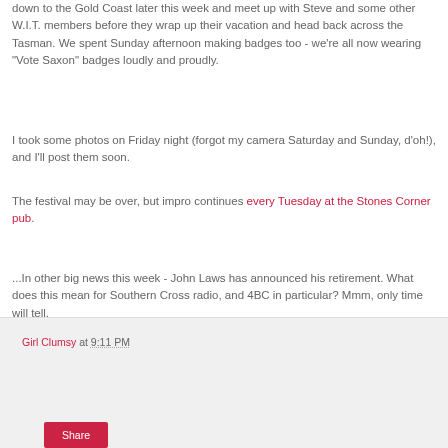down to the Gold Coast later this week and meet up with Steve and some other W.I.T. members before they wrap up their vacation and head back across the Tasman. We spent Sunday afternoon making badges too - we're all now wearing "Vote Saxon" badges loudly and proudly.
I took some photos on Friday night (forgot my camera Saturday and Sunday, d'oh!), and I'll post them soon.
The festival may be over, but impro continues every Tuesday at the Stones Corner pub.
...In other big news this week - John Laws has announced his retirement. What does this mean for Southern Cross radio, and 4BC in particular? Mmm, only time will tell.
Girl Clumsy at 9:11 PM
Share